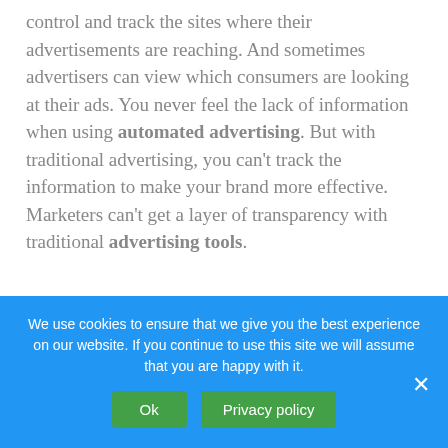control and track the sites where their advertisements are reaching. And sometimes advertisers can view which consumers are looking at their ads. You never feel the lack of information when using automated advertising. But with traditional advertising, you can't track the information to make your brand more effective. Marketers can't get a layer of transparency with traditional advertising tools.
We use cookies to ensure that we give you the best experience on our website. If you continue to use this site we will assume that you are happy with it.